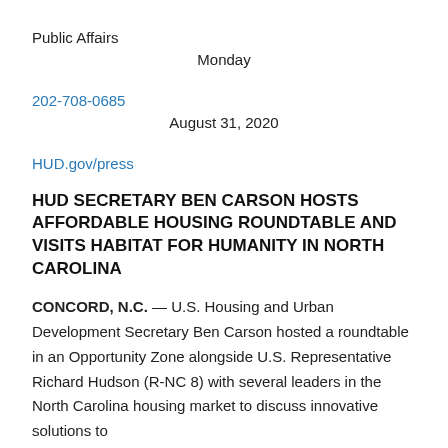Public Affairs
Monday
202-708-0685
August 31, 2020
HUD.gov/press
HUD SECRETARY BEN CARSON HOSTS AFFORDABLE HOUSING ROUNDTABLE AND VISITS HABITAT FOR HUMANITY IN NORTH CAROLINA
CONCORD, N.C. — U.S. Housing and Urban Development Secretary Ben Carson hosted a roundtable in an Opportunity Zone alongside U.S. Representative Richard Hudson (R-NC 8) with several leaders in the North Carolina housing market to discuss innovative solutions to